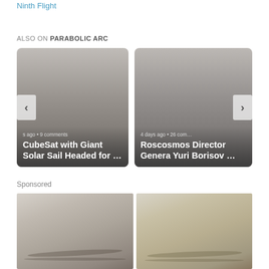Ninth Flight
ALSO ON PARABOLIC ARC
[Figure (screenshot): Two article preview cards. Left card: 's ago • 9 comments' and title 'CubeSat with Giant Solar Sail Headed for …'. Right card: '4 days ago • 26 comments' and title 'Roscosmos Director General Yuri Borisov …'. Navigation arrows on each side.]
Sponsored
[Figure (photo): Two close-up photos of human eyebrows/forehead skin side by side. Left shows darker eyebrows, right shows lighter/blonde eyebrows.]